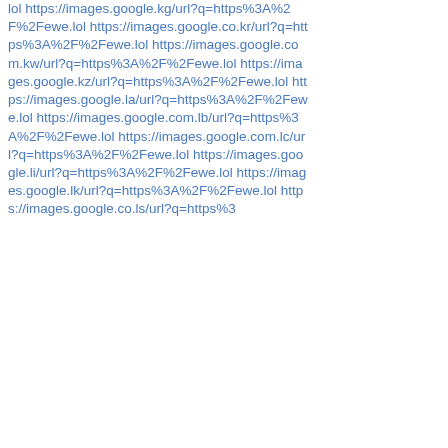lol https://images.google.kg/url?q=https%3A%2F%2Fewe.lol https://images.google.co.kr/url?q=https%3A%2F%2Fewe.lol https://images.google.com.kw/url?q=https%3A%2F%2Fewe.lol https://images.google.kz/url?q=https%3A%2F%2Fewe.lol https://images.google.la/url?q=https%3A%2F%2Fewe.lol https://images.google.com.lb/url?q=https%3A%2F%2Fewe.lol https://images.google.com.lc/url?q=https%3A%2F%2Fewe.lol https://images.google.li/url?q=https%3A%2F%2Fewe.lol https://images.google.lk/url?q=https%3A%2F%2Fewe.lol https://images.google.co.ls/url?q=https%3